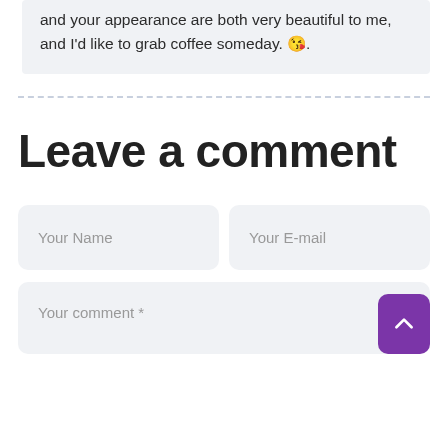and your appearance are both very beautiful to me, and I'd like to grab coffee someday. 😘.
Leave a comment
Your Name
Your E-mail
Your comment *